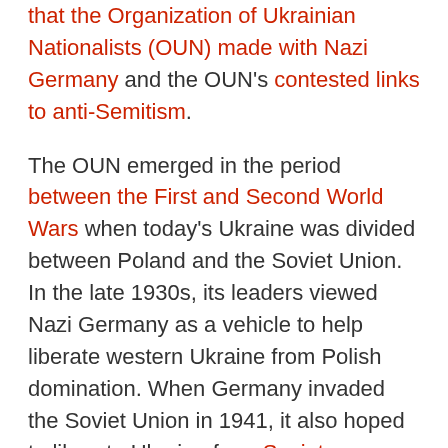that the Organization of Ukrainian Nationalists (OUN) made with Nazi Germany and the OUN's contested links to anti-Semitism.
The OUN emerged in the period between the First and Second World Wars when today's Ukraine was divided between Poland and the Soviet Union. In the late 1930s, its leaders viewed Nazi Germany as a vehicle to help liberate western Ukraine from Polish domination. When Germany invaded the Soviet Union in 1941, it also hoped to liberate Ukraine from Soviet domination.
The hope that Nazi Germany would...